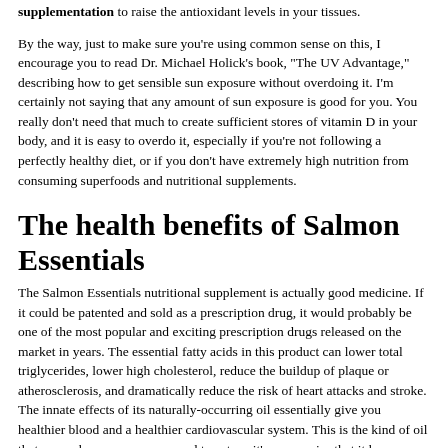supplementation to raise the antioxidant levels in your tissues.
By the way, just to make sure you're using common sense on this, I encourage you to read Dr. Michael Holick's book, "The UV Advantage," describing how to get sensible sun exposure without overdoing it. I'm certainly not saying that any amount of sun exposure is good for you. You really don't need that much to create sufficient stores of vitamin D in your body, and it is easy to overdo it, especially if you're not following a perfectly healthy diet, or if you don't have extremely high nutrition from consuming superfoods and nutritional supplements.
The health benefits of Salmon Essentials
The Salmon Essentials nutritional supplement is actually good medicine. If it could be patented and sold as a prescription drug, it would probably be one of the most popular and exciting prescription drugs released on the market in years. The essential fatty acids in this product can lower total triglycerides, lower high cholesterol, reduce the buildup of plaque or atherosclerosis, and dramatically reduce the risk of heart attacks and stroke. The innate effects of its naturally-occurring oil essentially give you healthier blood and a healthier cardiovascular system. This is the kind of oil that we, as humans, are supposed to eat, so it's no surprise that it has positive medicinal effects on the human body.
Since the FDA has not approved Salmon Essentials -- or any nutritional supplement -- as a drug, the Mera company cannot make these kinds of claims on the product. On the other hand, I can tell you these things out of my own experience and opinion, and with the understanding that my review of this product has no ties whatsoever to the Mera Pharmaceuticals company. I have not been paid to review this product and I receive no financial compensation if someone buys it.